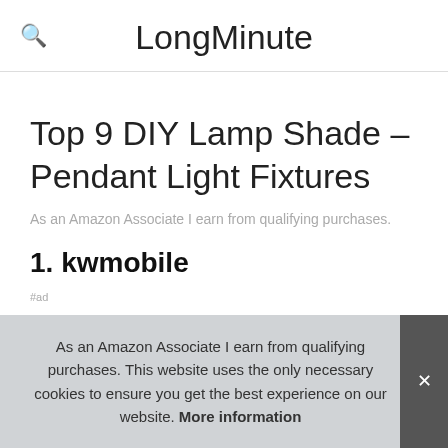LongMinute
Top 9 DIY Lamp Shade – Pendant Light Fixtures
As an Amazon Associate I earn from qualifying purchases.
1. kwmobile
#ad
As an Amazon Associate I earn from qualifying purchases. This website uses the only necessary cookies to ensure you get the best experience on our website. More information